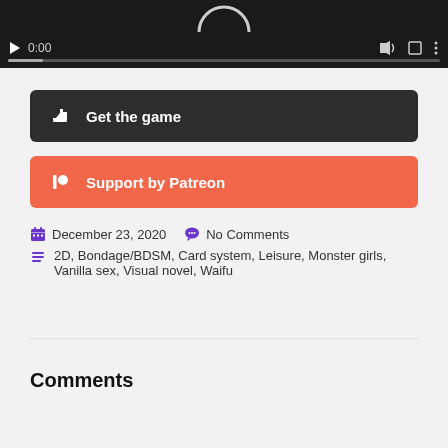[Figure (screenshot): Video player with dark background showing playback controls: play button, 0:00 timestamp, mute icon, fullscreen icon, menu dots, and a progress bar.]
Get the game
Support by Patreon
December 23, 2020   No Comments
2D, Bondage/BDSM, Card system, Leisure, Monster girls, Vanilla sex, Visual novel, Waifu
Comments